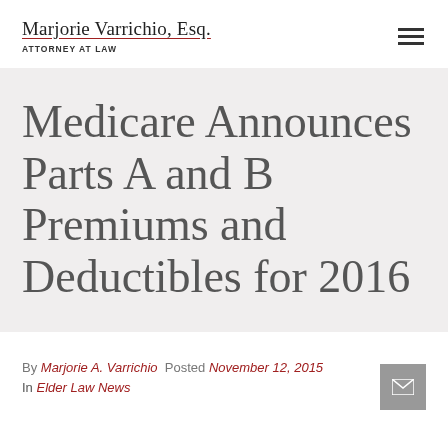Marjorie Varrichio, Esq. ATTORNEY AT LAW
Medicare Announces Parts A and B Premiums and Deductibles for 2016
By Marjorie A. Varrichio  Posted November 12, 2015  In Elder Law News